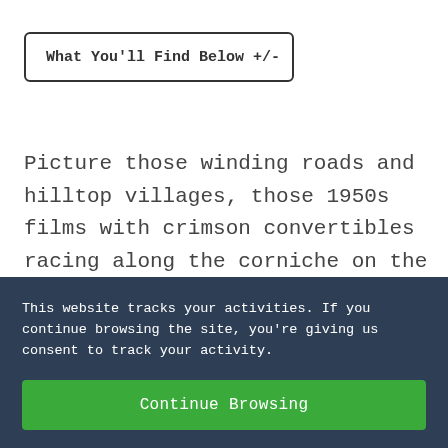What You'll Find Below +/-
Picture those winding roads and hilltop villages, those 1950s films with crimson convertibles racing along the corniche on the French Riviera or climbing narrow mountain roads inching towards abandoned
This website tracks your activities. If you continue browsing the site, you’re giving us consent to track your activity.
Continue Browsing